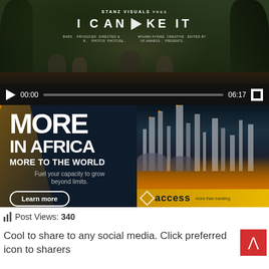[Figure (screenshot): Video player showing a music video titled 'I CAN MAKE IT' with scene of people in outdoor setting. Controls show 00:00 / 06:17 timestamp.]
[Figure (photo): Access Bank advertisement banner. Text reads: MORE IN AFRICA MORE TO THE WORLD. Fuel your capacity to grow beyond limits. Learn more button. City/industrial skyline at night on right side. Access bank logo bottom right.]
Post Views: 340
Cool to share to any social media. Click preferred icon to sharers